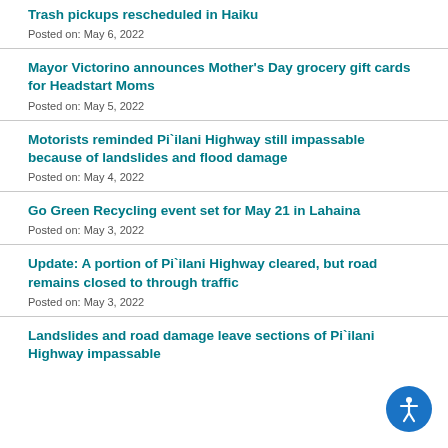Trash pickups rescheduled in Haiku
Posted on: May 6, 2022
Mayor Victorino announces Mother's Day grocery gift cards for Headstart Moms
Posted on: May 5, 2022
Motorists reminded Pi`ilani Highway still impassable because of landslides and flood damage
Posted on: May 4, 2022
Go Green Recycling event set for May 21 in Lahaina
Posted on: May 3, 2022
Update: A portion of Pi`ilani Highway cleared, but road remains closed to through traffic
Posted on: May 3, 2022
Landslides and road damage leave sections of Pi`ilani Highway impassable